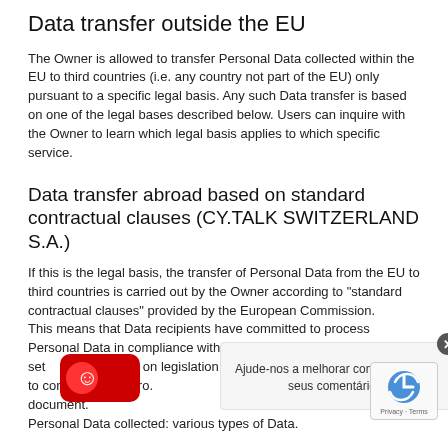Data transfer outside the EU
The Owner is allowed to transfer Personal Data collected within the EU to third countries (i.e. any country not part of the EU) only pursuant to a specific legal basis. Any such Data transfer is based on one of the legal bases described below. Users can inquire with the Owner to learn which legal basis applies to which specific service.
Data transfer abroad based on standard contractual clauses (CY.TALK SWITZERLAND S.A.)
If this is the legal basis, the transfer of Personal Data from the EU to third countries is carried out by the Owner according to “standard contractual clauses” provided by the European Commission.
This means that Data recipients have committed to process Personal Data in compliance with the data protection standards set forth by European Union legislation. For further information, Users are invited to contact the Owner, through the contact details provided in the present document.
Personal Data collected: various types of Data.